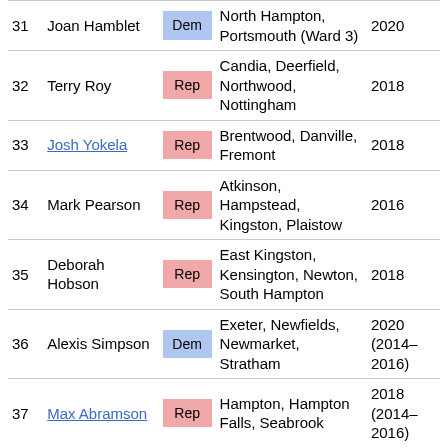| # | Name | Party | District | Elected |
| --- | --- | --- | --- | --- |
| 31 | Joan Hamblet | Dem | North Hampton, Portsmouth (Ward 3) | 2020 |
| 32 | Terry Roy | Rep | Candia, Deerfield, Northwood, Nottingham | 2018 |
| 33 | Josh Yokela | Rep | Brentwood, Danville, Fremont | 2018 |
| 34 | Mark Pearson | Rep | Atkinson, Hampstead, Kingston, Plaistow | 2016 |
| 35 | Deborah Hobson | Rep | East Kingston, Kensington, Newton, South Hampton | 2018 |
| 36 | Alexis Simpson | Dem | Exeter, Newfields, Newmarket, Stratham | 2020 (2014–2016) |
| 37 | Max Abramson | Rep | Hampton, Hampton Falls, Seabrook | 2018 (2014–2016) |
↑ Member was first elected in a special election.
Strafford